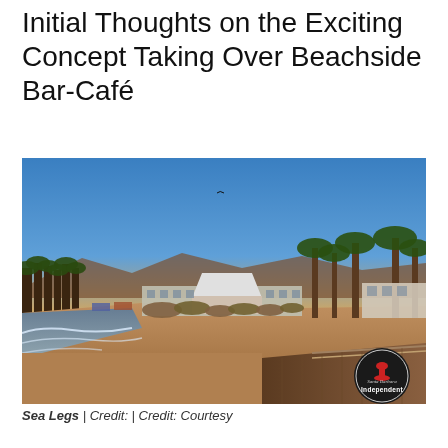Initial Thoughts on the Exciting Concept Taking Over Beachside Bar-Café
[Figure (photo): Aerial coastal view of a beachside bar-café with palm trees, a sandy beach with gentle waves, a pier in the foreground, and mountains in the background at sunset. An 'Independent' magazine logo watermark is in the bottom-right corner.]
Sea Legs | Credit: | Credit: Courtesy